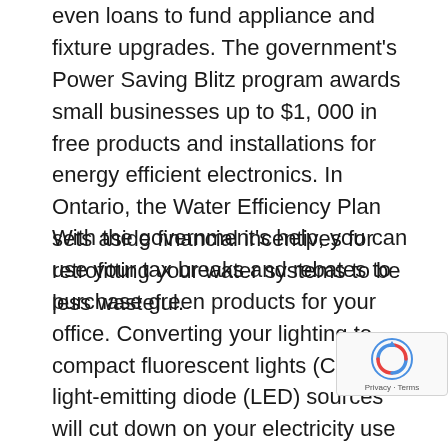even loans to fund appliance and fixture upgrades. The government's Power Saving Blitz program awards small businesses up to $1, 000 in free products and installations for energy efficient electronics. In Ontario, the Water Efficiency Plan sets aside financial incentives for retrofitting your water systems to be less wasteful.
With the government's help, you can use your tax breaks and rebates to purchase green products for your office. Converting your lighting to compact fluorescent lights (CFL) or light-emitting diode (LED) sources will cut down on your electricity use and your electricity bill. Installing occupancy sensors will ensure that these lights aren't accidentally left on for longer than they need to be, as they are designed to turn off w the mechanism doesn't pick up any moveme within the room. That way, no energy (or money) is
[Figure (other): reCAPTCHA widget overlay in the bottom-right corner showing the reCAPTCHA logo and 'Privacy - Terms' text]